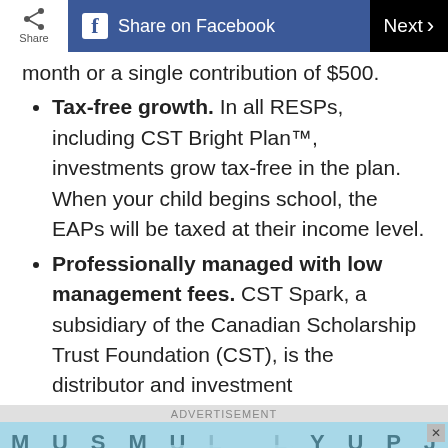Share | Share on Facebook | Next
month or a single contribution of $500.
Tax-free growth. In all RESPs, including CST Bright Plan™, investments grow tax-free in the plan. When your child begins school, the EAPs will be taxed at their income level.
Professionally managed with low management fees. CST Spark, a subsidiary of the Canadian Scholarship Trust Foundation (CST), is the distributor and investment...
ADVERTISEMENT
[Figure (screenshot): The Daily Word Search advertisement banner with letter grid showing M U S M U L L Y U P J, V L C S A A P V S U L I]